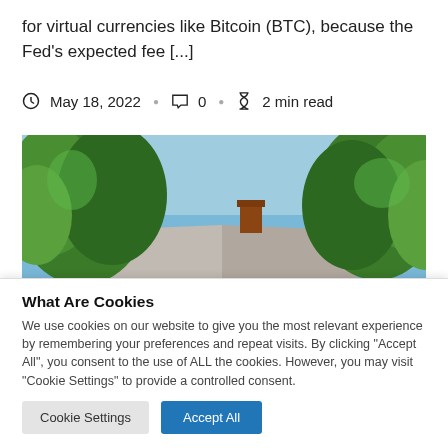for virtual currencies like Bitcoin (BTC), because the Fed's expected fee [...]
May 18, 2022 · 0 · 2 min read
[Figure (photo): Outdoor photo showing green trees and a rooftop with a chimney under a blue sky]
What Are Cookies
We use cookies on our website to give you the most relevant experience by remembering your preferences and repeat visits. By clicking "Accept All", you consent to the use of ALL the cookies. However, you may visit "Cookie Settings" to provide a controlled consent.
Cookie Settings | Accept All